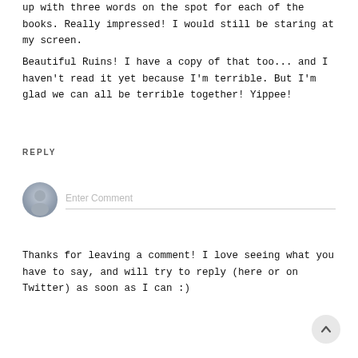up with three words on the spot for each of the books. Really impressed! I would still be staring at my screen.
Beautiful Ruins! I have a copy of that too... and I haven't read it yet because I'm terrible. But I'm glad we can all be terrible together! Yippee!
REPLY
[Figure (other): Comment input field with user avatar icon and 'Enter Comment' placeholder text]
Thanks for leaving a comment! I love seeing what you have to say, and will try to reply (here or on Twitter) as soon as I can :)